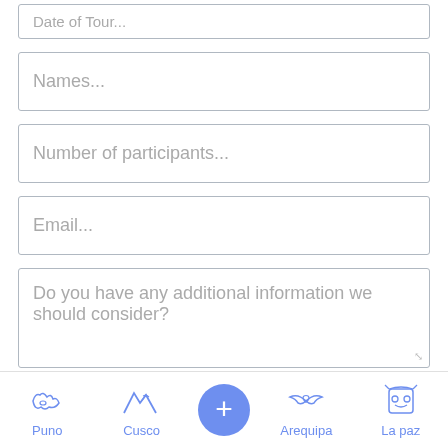Names...
Number of participants...
Email...
Do you have any additional information we should consider?
SEND BOOKING FORM
Puno  Cusco  +  Arequipa  La paz